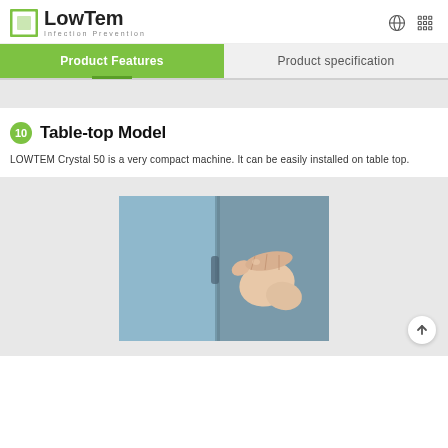LowTem Infection Prevention
Product Features
Product specification
10 Table-top Model
LOWTEM Crystal 50 is a very compact machine. It can be easily installed on table top.
[Figure (photo): A hand gripping what appears to be the handle or edge of a compact machine (LOWTEM Crystal 50), shown as a table-top model.]